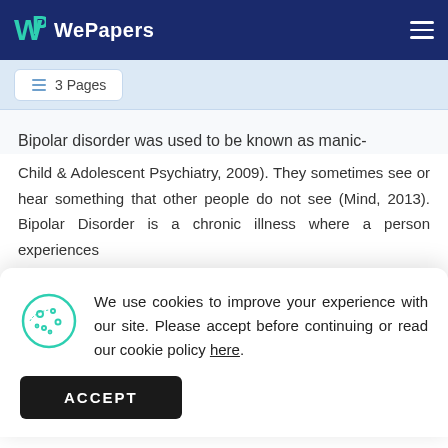WePapers
3 Pages
Bipolar disorder was used to be known as manic-
We use cookies to improve your experience with our site. Please accept before continuing or read our cookie policy here.
ACCEPT
Child & Adolescent Psychiatry, 2009). They sometimes see or hear something that other people do not see (Mind, 2013). Bipolar Disorder is a chronic illness where a person experiences